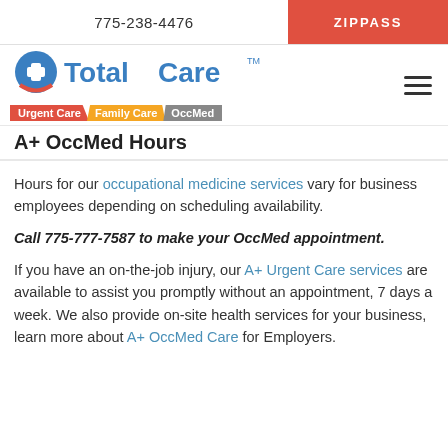775-238-4476   ZIPPASS
[Figure (logo): A+ Total Care logo with Urgent Care / Family Care / OccMed tagline bar]
A+ OccMed Hours
Hours for our occupational medicine services vary for business employees depending on scheduling availability.
Call 775-777-7587 to make your OccMed appointment.
If you have an on-the-job injury, our A+ Urgent Care services are available to assist you promptly without an appointment, 7 days a week. We also provide on-site health services for your business, learn more about A+ OccMed Care for Employers.